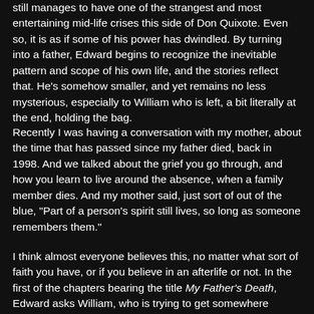still manages to have one of the strangest and most entertaining mid-life crises this side of Don Quixote. Even so, it is as if some of his power has dwindled. By turning into a father, Edward begins to recognize the inevitable pattern and scope of his own life, and the stories reflect that. He's somehow smaller, and yet remains no less mysterious, especially to William who is left, a bit literally at the end, holding the bag.
Recently I was having a conversation with my mother, about the time that has passed since my father died, back in 1998. And we talked about the grief you go through, and how you learn to live around the absence, when a family member dies. And my mother said, just sort of out of the blue, "Part of a person's spirit still lives, so long as someone remembers them."
I think almost everyone believes this, no matter what sort of faith you have, or if you believe in an afterlife or not. In the first of the chapters bearing the title My Father's Death, Edward asks William, who is trying to get somewhere beyond all the crazy tales that he's heard all his life,